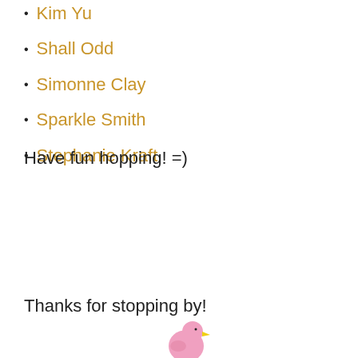Kim Yu
Shall Odd
Simonne Clay
Sparkle Smith
Stephanie Kraft
Have fun hopping! =)
Thanks for stopping by!
[Figure (illustration): A small pink bird illustration with a yellow beak, partially visible at the bottom of the page]